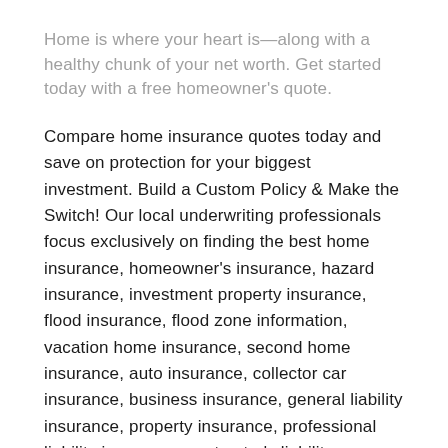Home is where your heart is—along with a healthy chunk of your net worth. Get started today with a free homeowner's quote.
Compare home insurance quotes today and save on protection for your biggest investment. Build a Custom Policy & Make the Switch! Our local underwriting professionals focus exclusively on finding the best home insurance, homeowner's insurance, hazard insurance, investment property insurance, flood insurance, flood zone information, vacation home insurance, second home insurance, auto insurance, collector car insurance, business insurance, general liability insurance, property insurance, professional liability insurance, contractor's liability insurance, worker's comp insurance, key man insurance, whole life insurance, term life insurance, group